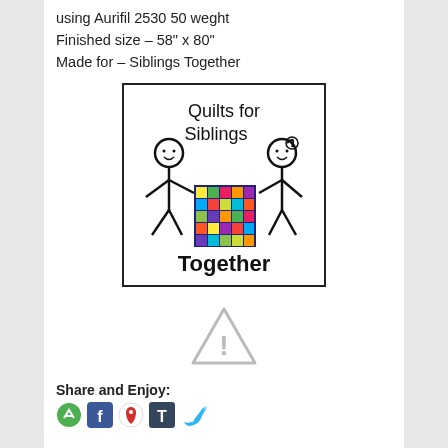using Aurifil 2530 50 weght
Finished size – 58" x 80"
Made for – Siblings Together
[Figure (logo): Quilts for Siblings Together logo: two stick figures holding a colorful patchwork quilt, with text 'Quilts for Siblings' at top and 'Together' at bottom in hand-drawn style]
[Figure (other): Warning/caution triangle icon with exclamation mark, shown in gray outline]
Share and Enjoy:
[Figure (other): Row of social media share icons: green recycle/share icon, Facebook icon, Google Maps pin icon, Tumblr icon, Twitter bird icon]